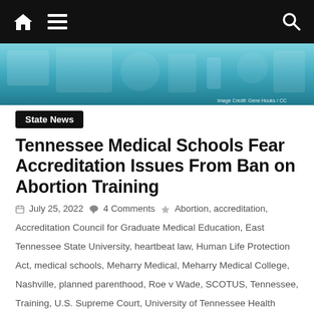Navigation bar with home, menu, and search icons
[Figure (photo): Hero image of medical/surgical equipment in blue-teal tones with image credit 'Image Credit: Gene Hooks / CC']
Image Credit: Gene Hooks / CC
State News
Tennessee Medical Schools Fear Accreditation Issues From Ban on Abortion Training
July 25, 2022   4 Comments   Abortion, accreditation,
Accreditation Council for Graduate Medical Education, East Tennessee State University, heartbeat law, Human Life Protection Act, medical schools, Meharry Medical, Meharry Medical College, Nashville, planned parenthood, Roe v Wade, SCOTUS, Tennessee, Training, U.S. Supreme Court, University of Tennessee Health Science Center, Vanderbilt University
While Some Medical Professionals Continue To Claim That